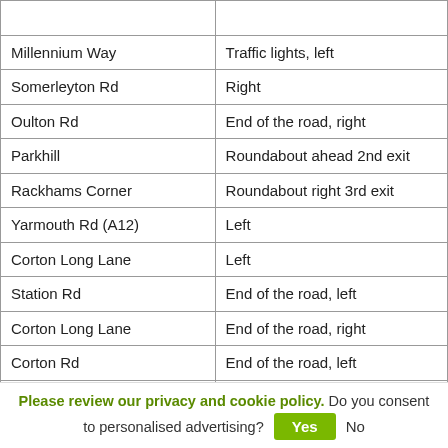| Millennium Way | Traffic lights, left |
| Somerleyton Rd | Right |
| Oulton Rd | End of the road, right |
| Parkhill | Roundabout ahead 2nd exit |
| Rackhams Corner | Roundabout right 3rd exit |
| Yarmouth Rd (A12) | Left |
| Corton Long Lane | Left |
| Station Rd | End of the road, left |
| Corton Long Lane | End of the road, right |
| Corton Rd | End of the road, left |
| Yarmouth Rd / Camden St / JubileeWay | Roundabout ahead 2nd exit |
Please review our privacy and cookie policy. Do you consent to personalised advertising? Yes No